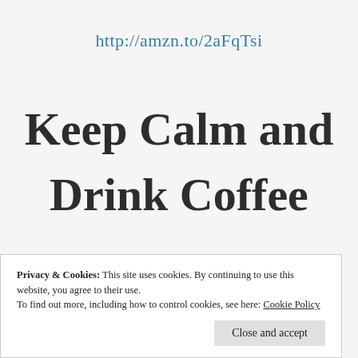http://amzn.to/2aFqTsi
Keep Calm and Drink Coffee
Privacy & Cookies: This site uses cookies. By continuing to use this website, you agree to their use.
To find out more, including how to control cookies, see here: Cookie Policy
Close and accept